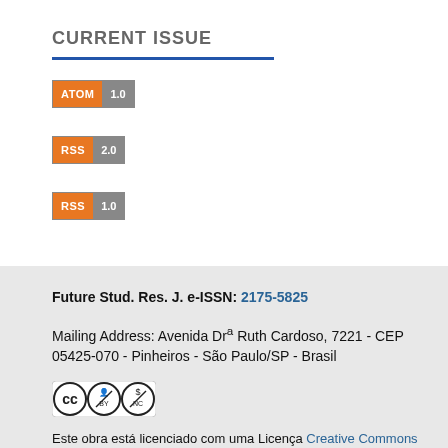CURRENT ISSUE
[Figure (logo): ATOM 1.0 feed badge — orange label 'ATOM' and grey version '1.0']
[Figure (logo): RSS 2.0 feed badge — orange label 'RSS' and grey version '2.0']
[Figure (logo): RSS 1.0 feed badge — orange label 'RSS' and grey version '1.0']
Future Stud. Res. J. e-ISSN: 2175-5825
Mailing Address: Avenida Drª Ruth Cardoso, 7221 - CEP 05425-070 - Pinheiros - São Paulo/SP - Brasil
[Figure (logo): Creative Commons BY-NC license logo]
Este obra está licenciado com uma Licença Creative Commons Atribuição-NãoComercial 4.0 Internacional.
[Figure (logo): Open Access logo — orange stylized 'a' symbol]